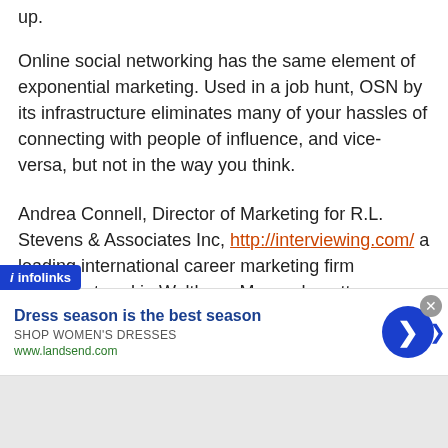up.
Online social networking has the same element of exponential marketing. Used in a job hunt, OSN by its infrastructure eliminates many of your hassles of connecting with people of influence, and vice-versa, but not in the way you think.
Andrea Connell, Director of Marketing for R.L. Stevens & Associates Inc, http://interviewing.com/ a leading international career marketing firm headquartered in Waltham, Massachusetts, explains, "The viral capabilities of online social networking works best when it's designed around your ability to give, not your need to receive." You'll reap better rewards when share what you know with others and help them to
[Figure (screenshot): Infolinks advertisement banner: 'Dress season is the best season', SHOP WOMEN'S DRESSES, www.landsend.com, with a blue circle arrow button and close (x) button]